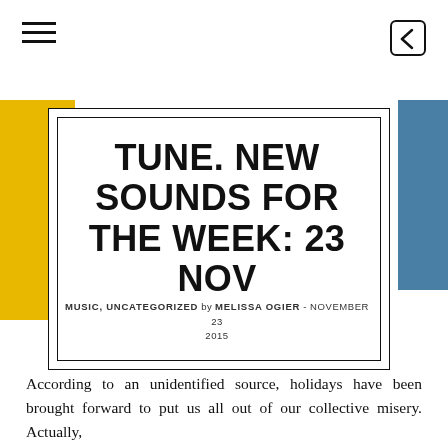≡  [←
[Figure (illustration): Background image strip with yellow area on left and blue/teal area on right, with a white rectangular card overlaid containing bordered inner frame]
TUNE. NEW SOUNDS FOR THE WEEK: 23 NOV
MUSIC, UNCATEGORIZED by MELISSA OGIER - NOVEMBER 23 2015
According to an unidentified source, holidays have been brought forward to put us all out of our collective misery. Actually,